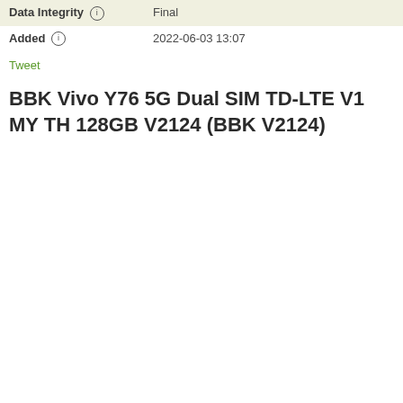| Field | Value |
| --- | --- |
| Data Integrity ⓘ | Final |
| Added ⓘ | 2022-06-03 13:07 |
Tweet
BBK Vivo Y76 5G Dual SIM TD-LTE V1 MY TH 128GB V2124 (BBK V2124)